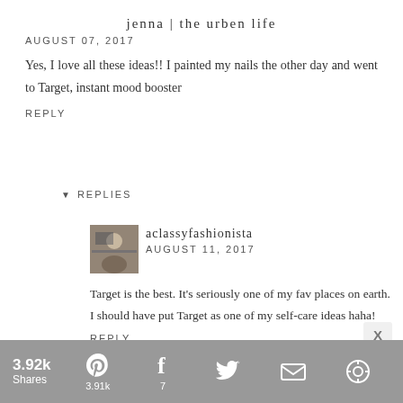jenna | the urben life
AUGUST 07, 2017
Yes, I love all these ideas!! I painted my nails the other day and went to Target, instant mood booster
REPLY
▼ REPLIES
[Figure (photo): Avatar photo of aclassyfashionista commenter]
aclassyfashionista
AUGUST 11, 2017
Target is the best. It's seriously one of my fav places on earth. I should have put Target as one of my self-care ideas haha!
REPLY
3.92k Shares
3.91k
7